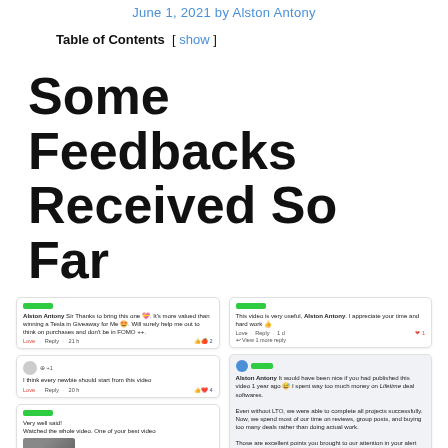June 1, 2021 by Alston Antony
Table of Contents [ show ]
Some Feedbacks Received So Far
[Figure (screenshot): Two columns of social media comment screenshots showing positive feedback about a video by Alston Antony. Left column has three comments, right column has two comments with longer text about LTO and lifetime deal softwares.]